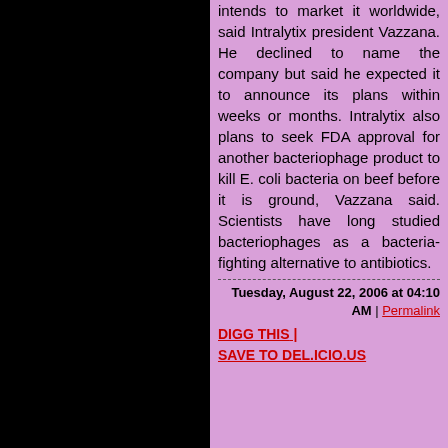intends to market it worldwide, said Intralytix president Vazzana. He declined to name the company but said he expected it to announce its plans within weeks or months. Intralytix also plans to seek FDA approval for another bacteriophage product to kill E. coli bacteria on beef before it is ground, Vazzana said. Scientists have long studied bacteriophages as a bacteria-fighting alternative to antibiotics.
Tuesday, August 22, 2006 at 04:10 AM | Permalink
DIGG THIS | SAVE TO DEL.ICIO.US